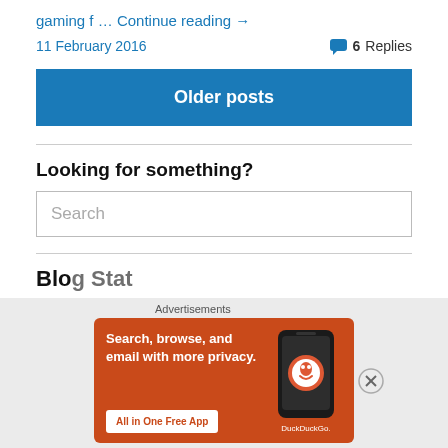gaming f … Continue reading →
11 February 2016
6 Replies
Older posts
Looking for something?
Search
Blo Sta…
[Figure (screenshot): DuckDuckGo advertisement banner: orange background with text 'Search, browse, and email with more privacy. All in One Free App' and a phone showing DuckDuckGo logo]